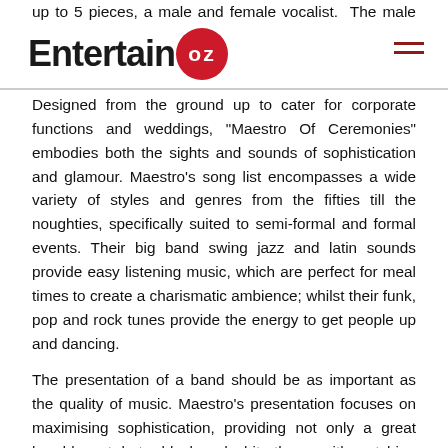EntertainOZ
up to 5 pieces, a male and female vocalist. The male vocalist doubles as one of the reed section.

Designed from the ground up to cater for corporate functions and weddings, "Maestro Of Ceremonies" embodies both the sights and sounds of sophistication and glamour. Maestro's song list encompasses a wide variety of styles and genres from the fifties till the noughties, specifically suited to semi-formal and formal events. Their big band swing jazz and latin sounds provide easy listening music, which are perfect for meal times to create a charismatic ambience; whilst their funk, pop and rock tunes provide the energy to get people up and dancing.
The presentation of a band should be as important as the quality of music. Maestro's presentation focuses on maximising sophistication, providing not only a great band layout, but a black and white theme with matching blue themed banners and ties. A sharp and characteristic logo provides the final touch.
Maestro Of Ceremonies past performances include weddings at Crown Casino's River Room, The International of Brighton, The Gables at Malvern; as well as corporate events held at